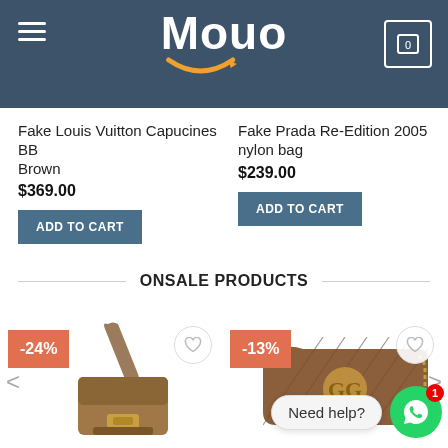Mouo
Fake Louis Vuitton Capucines BB Brown
$369.00
Fake Prada Re-Edition 2005 nylon bag
$239.00
ONSALE PRODUCTS
[Figure (photo): Louis Vuitton Dauphine mini bag with monogram canvas, brown, with -24% discount badge]
[Figure (photo): Gucci Marmont quilted leather shoulder bag, brown, with -13% discount badge]
Need help?